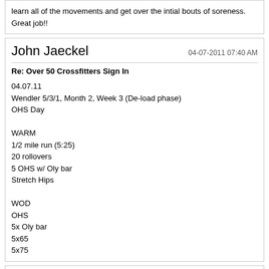learn all of the movements and get over the intial bouts of soreness. Great job!!
John Jaeckel
04-07-2011 07:40 AM
Re: Over 50 Crossfitters Sign In
04.07.11
Wendler 5/3/1, Month 2, Week 3 (De-load phase)
OHS Day

WARM
1/2 mile run (5:25)
20 rollovers
5 OHS w/ Oly bar
Stretch Hips

WOD
OHS
5x Oly bar
5x65
5x75
Deb Weber
04-07-2011 07:01 PM
Re: Over 50 Crossfitters Sign In